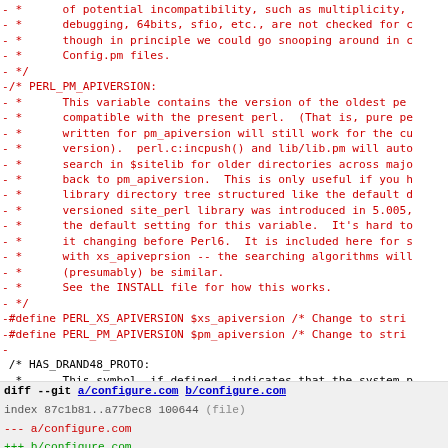diff code view showing removed lines about PERL_PM_APIVERSION and PERL_XS_APIVERSION, followed by diff header for a/configure.com b/configure.com
diff --git a/configure.com b/configure.com
index 87c1b81..a77bec8 100644 (file)
--- a/configure.com
+++ b/configure.com
@@ -984,7 +984,7 @@ $!